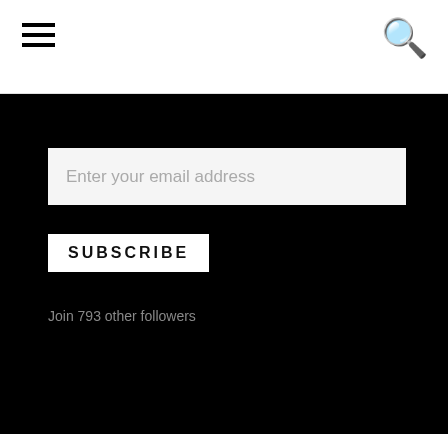Navigation header with hamburger menu and search icon
Enter your email address
SUBSCRIBE
Join 793 other followers
[Figure (other): Follow Pablo Clemente Pérez button with WordPress icon on blue background]
[Figure (other): Up arrow icon with yellow bar on black background footer]